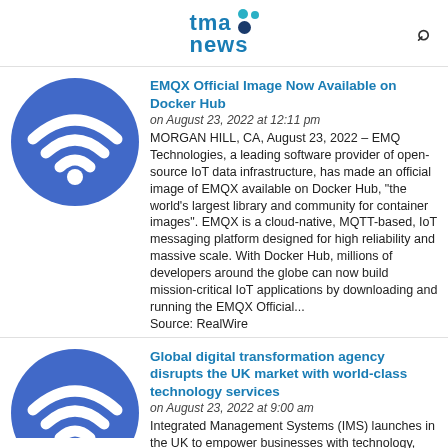tma news
[Figure (logo): TMA News logo with teal and navy dots]
[Figure (illustration): Blue circle with white WiFi icon]
EMQX Official Image Now Available on Docker Hub
on August 23, 2022 at 12:11 pm
MORGAN HILL, CA, August 23, 2022 – EMQ Technologies, a leading software provider of open-source IoT data infrastructure, has made an official image of EMQX available on Docker Hub, "the world's largest library and community for container images". EMQX is a cloud-native, MQTT-based, IoT messaging platform designed for high reliability and massive scale. With Docker Hub, millions of developers around the globe can now build mission-critical IoT applications by downloading and running the EMQX Official... Source: RealWire
[Figure (illustration): Blue circle with white WiFi icon (partial, bottom)]
Global digital transformation agency disrupts the UK market with world-class technology services
on August 23, 2022 at 9:00 am
Integrated Management Systems (IMS) launches in the UK to empower businesses with technology, product...